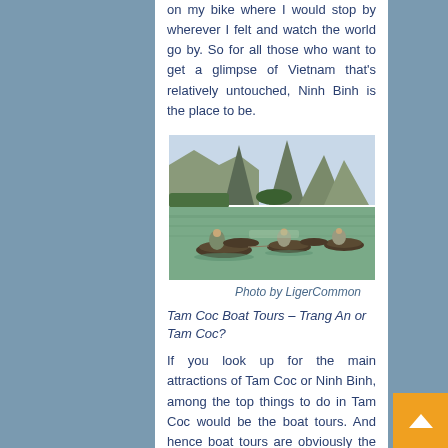on my bike where I would stop by wherever I felt and watch the world go by. So for all those who want to get a glimpse of Vietnam that's relatively untouched, Ninh Binh is the place to be.
[Figure (photo): Boats on a river with dramatic karst limestone mountains in the background at Tam Coc, Ninh Binh, Vietnam. Multiple small rowing boats with people on calm green water.]
Photo by LigerCommon
Tam Coc Boat Tours – Trang An or Tam Coc?
If you look up for the main attractions of Tam Coc or Ninh Binh, among the top things to do in Tam Coc would be the boat tours. And hence boat tours are obviously the most